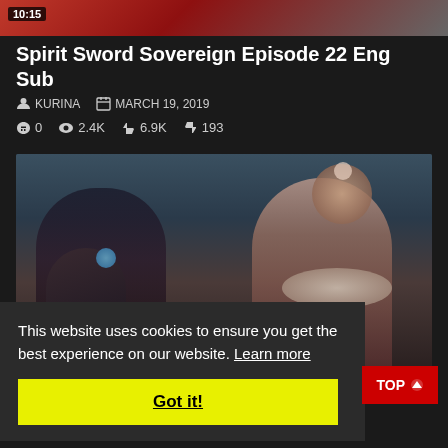[Figure (screenshot): Top portion of a video thumbnail showing animated characters with red/dark tones, timestamp 10:15 in top-left corner]
Spirit Sword Sovereign Episode 22 Eng Sub
KURINA   MARCH 19, 2019
0  2.4K  6.9K  193
[Figure (screenshot): Video thumbnail showing two animated female characters in traditional Chinese-style clothing, standing in a dark rocky environment]
This website uses cookies to ensure you get the best experience on our website. Learn more
Got it!
TOP
0  1.1K  3.3K  175